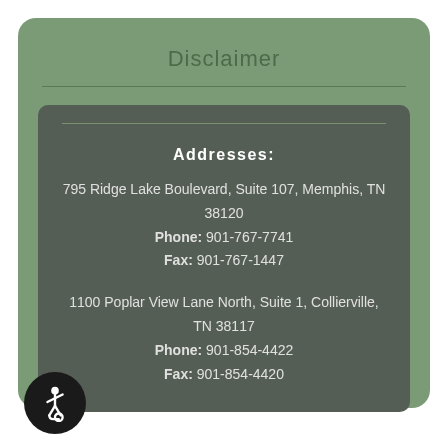Disclaimer
Addresses:
795 Ridge Lake Boulevard, Suite 107, Memphis, TN 38120
Phone: 901-767-7741
Fax: 901-767-1447

1100 Poplar View Lane North, Suite 1, Collierville, TN 38117
Phone: 901-854-4422
Fax: 901-854-4420